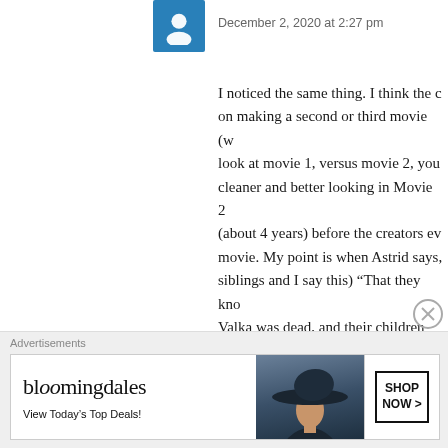[Figure (other): Blue avatar icon with white user silhouette]
December 2, 2020 at 2:27 pm
I noticed the same thing. I think the c... on making a second or third movie (w... look at movie 1, versus movie 2, you... cleaner and better looking in Movie 2... (about 4 years) before the creators eve... movie. My point is when Astrid says,... siblings and I say this) “That they kno... Valka was dead, and their children we... fateful night. Therefore, they only kn... because he was the only one brave en... this answer your question?
★ Liked by 1 person
Advertisements
[Figure (other): Bloomingdale's advertisement banner: logo, 'View Today's Top Deals!', woman with hat, SHOP NOW button]